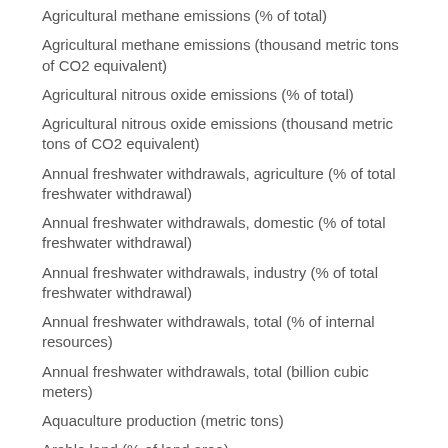Agricultural methane emissions (% of total)
Agricultural methane emissions (thousand metric tons of CO2 equivalent)
Agricultural nitrous oxide emissions (% of total)
Agricultural nitrous oxide emissions (thousand metric tons of CO2 equivalent)
Annual freshwater withdrawals, agriculture (% of total freshwater withdrawal)
Annual freshwater withdrawals, domestic (% of total freshwater withdrawal)
Annual freshwater withdrawals, industry (% of total freshwater withdrawal)
Annual freshwater withdrawals, total (% of internal resources)
Annual freshwater withdrawals, total (billion cubic meters)
Aquaculture production (metric tons)
Arable land (% of land area)
Average precipitation in depth (mm per year)